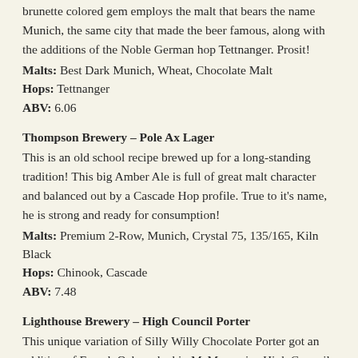brunette colored gem employs the malt that bears the name Munich, the same city that made the beer famous, along with the additions of the Noble German hop Tettnanger. Prosit!
Malts: Best Dark Munich, Wheat, Chocolate Malt
Hops: Tettnanger
ABV: 6.06
Thompson Brewery – Pole Ax Lager
This is an old school recipe brewed up for a long-standing tradition! This big Amber Ale is full of great malt character and balanced out by a Cascade Hop profile. True to it's name, he is strong and ready for consumption!
Malts: Premium 2-Row, Munich, Crystal 75, 135/165, Kiln Black
Hops: Chinook, Cascade
ABV: 7.48
Lighthouse Brewery – High Council Porter
This unique variation of Silly Willy Chocolate Porter got an addition of French Oak soaked in McMenamins High Council Brandy. This contribution provides a wonderful explosion of flavors on top of the already silky smooth nature of this beer.